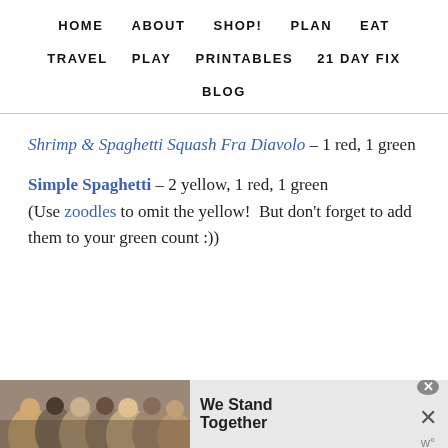HOME   ABOUT   SHOP!   PLAN   EAT
TRAVEL   PLAY   PRINTABLES   21 DAY FIX
BLOG
Shrimp & Spaghetti Squash Fra Diavolo – 1 red, 1 green
Simple Spaghetti – 2 yellow, 1 red, 1 green (Use zoodles to omit the yellow!  But don't forget to add them to your green count :))
[Figure (other): Advertisement banner: We Stand Together, with group photo of people hugging]